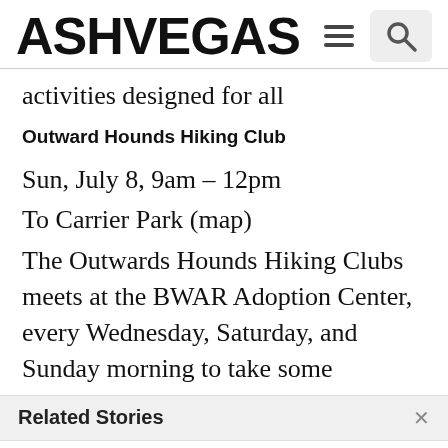ASHVEGAS
activities designed for all
Outward Hounds Hiking Club
Sun, July 8, 9am – 12pm
To Carrier Park (map)
The Outwards Hounds Hiking Clubs meets at the BWAR Adoption Center, every Wednesday, Saturday, and Sunday morning to take some
Related Stories
Ashvegas Hot Sheet: Big Crafty Sunday, Asheville small biz roundup, more